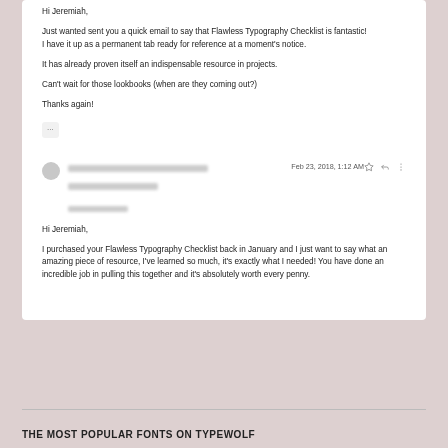Hi Jeremiah,
Just wanted sent you a quick email to say that Flawless Typography Checklist is fantastic! I have it up as a permanent tab ready for reference at a moment's notice.
It has already proven itself an indispensable resource in projects.
Can't wait for those lookbooks (when are they coming out?)
Thanks again!
Feb 23, 2018, 1:12 AM
Hi Jeremiah,
I purchased your Flawless Typography Checklist back in January and I just want to say what an amazing piece of resource, I've learned so much, it's exactly what I needed! You have done an incredible job in pulling this together and it's absolutely worth every penny.
THE MOST POPULAR FONTS ON TYPEWOLF